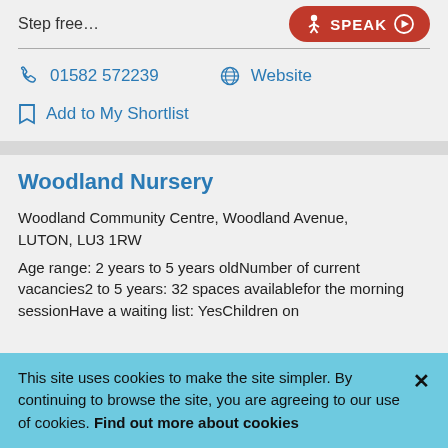Step free…
SPEAK
01582 572239
Website
Add to My Shortlist
Woodland Nursery
Woodland Community Centre, Woodland Avenue, LUTON, LU3 1RW
Age range: 2 years to 5 years oldNumber of current vacancies2 to 5 years: 32 spaces availablefor the morning sessionHave a waiting list: YesChildren on
This site uses cookies to make the site simpler. By continuing to browse the site, you are agreeing to our use of cookies. Find out more about cookies